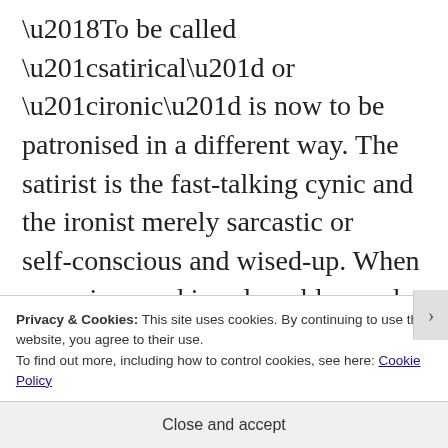‘To be called “satirical” or “ironic” is now to be patronised in a different way. The satirist is the fast-talking cynic and the ironist merely sarcastic or self-conscious and wised-up. When a precious and irreplaceable word like “irony” has become a lazy synonym for anomie, there is scant room for originality.’
Privacy & Cookies: This site uses cookies. By continuing to use this website, you agree to their use.
To find out more, including how to control cookies, see here: Cookie Policy
Close and accept